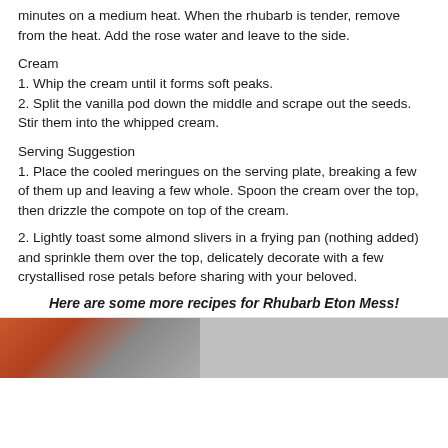minutes on a medium heat. When the rhubarb is tender, remove from the heat. Add the rose water and leave to the side.
Cream
1. Whip the cream until it forms soft peaks.
2. Split the vanilla pod down the middle and scrape out the seeds. Stir them into the whipped cream.
Serving Suggestion
1. Place the cooled meringues on the serving plate, breaking a few of them up and leaving a few whole. Spoon the cream over the top, then drizzle the compote on top of the cream.
2. Lightly toast some almond slivers in a frying pan (nothing added) and sprinkle them over the top, delicately decorate with a few crystallised rose petals before sharing with your beloved.
Here are some more recipes for Rhubarb Eton Mess!
[Figure (photo): Photo strip showing rhubarb dish, partially visible at bottom of page]